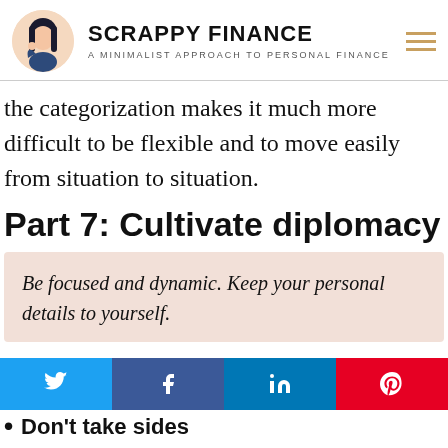SCRAPPY FINANCE — A MINIMALIST APPROACH TO PERSONAL FINANCE
the categorization makes it much more difficult to be flexible and to move easily from situation to situation.
Part 7: Cultivate diplomacy
Be focused and dynamic. Keep your personal details to yourself.
Don't take sides